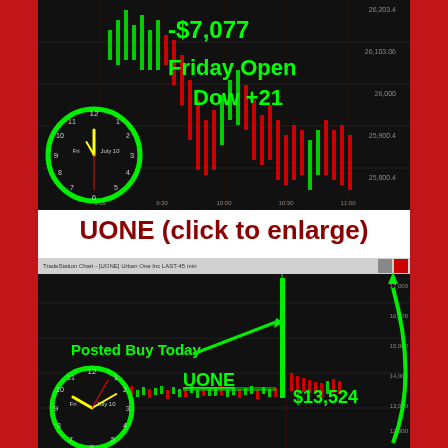[Figure (screenshot): Stock trading chart (Dow Jones) on black background with green candlesticks, showing -$7,077 loss annotation and 'Friday Open Dow +21' text overlay, with analog clock showing Friday July 10]
UONE (click to enlarge)
[Figure (screenshot): Stock trading chart for UONE (Urban One Inc) on black background showing a large green spike. Annotated with 'Posted Buy Today' arrow, 'UONE' ticker label, and '$13,524' profit value. Analog clock showing Friday July 10.]